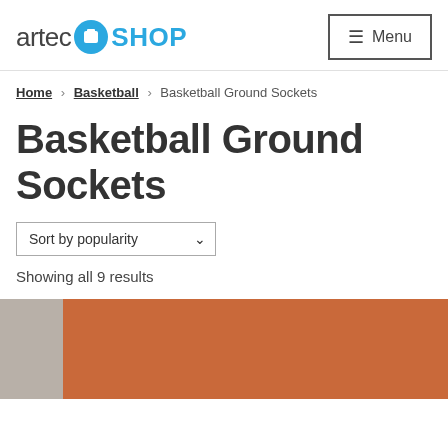artec SHOP — Menu
Home > Basketball > Basketball Ground Sockets
Basketball Ground Sockets
Sort by popularity
Showing all 9 results
[Figure (photo): Partial view of a basketball ground socket product image showing a brown/orange basketball and grey background]